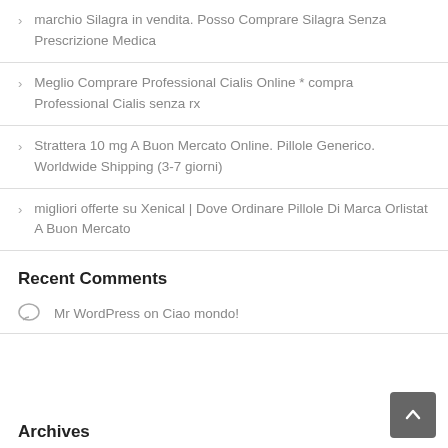> marchio Silagra in vendita. Posso Comprare Silagra Senza Prescrizione Medica
> Meglio Comprare Professional Cialis Online * compra Professional Cialis senza rx
> Strattera 10 mg A Buon Mercato Online. Pillole Generico. Worldwide Shipping (3-7 giorni)
> migliori offerte su Xenical | Dove Ordinare Pillole Di Marca Orlistat A Buon Mercato
Recent Comments
Mr WordPress on Ciao mondo!
Archives